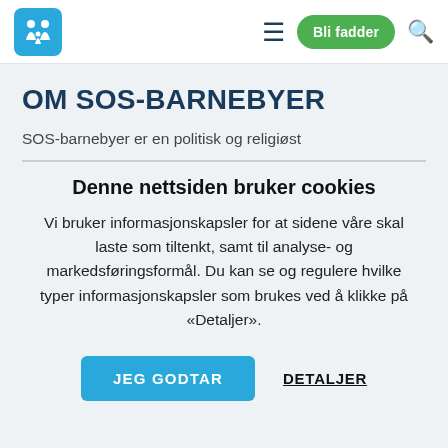[Figure (logo): SOS-Barnebyer logo: blue rounded square with white icon of adults and children]
Bli fadder
OM SOS-BARNEBYER
SOS-barnebyer er en politisk og religiøst
Denne nettsiden bruker cookies
Vi bruker informasjonskapsler for at sidene våre skal laste som tiltenkt, samt til analyse- og markedsføringsformål. Du kan se og regulere hvilke typer informasjonskapsler som brukes ved å klikke på «Detaljer».
JEG GODTAR
DETALJER